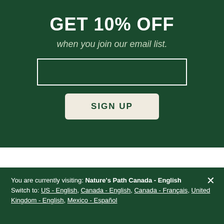GET 10% OFF
when you join our email list.
SIGN UP
You are currently visiting: Nature's Path Canada - English
Switch to: US - English, Canada - English, Canada - Français, United Kingdom - English, Mexico - Español